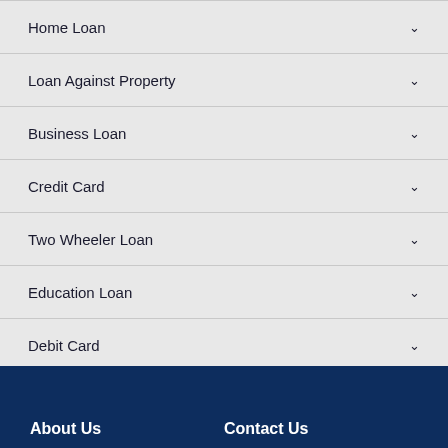Home Loan
Loan Against Property
Business Loan
Credit Card
Two Wheeler Loan
Education Loan
Debit Card
+ View More
About Us    Contact Us